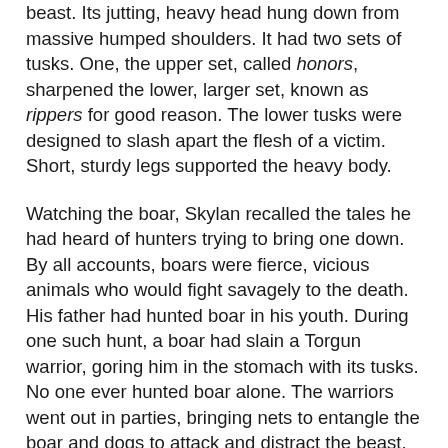beast. Its jutting, heavy head hung down from massive humped shoulders. It had two sets of tusks. One, the upper set, called honors, sharpened the lower, larger set, known as rippers for good reason. The lower tusks were designed to slash apart the flesh of a victim. Short, sturdy legs supported the heavy body.
Watching the boar, Skylan recalled the tales he had heard of hunters trying to bring one down. By all accounts, boars were fierce, vicious animals who would fight savagely to the death. His father had hunted boar in his youth. During one such hunt, a boar had slain a Torgun warrior, goring him in the stomach with its tusks. No one ever hunted boar alone. The warriors went out in parties, bringing nets to entangle the boar and dogs to attack and distract the beast, while the hunters closed in for the kill.
All this flashed through Skylan's mind, even as he determined that he would bring down Torval's boar by himself and haul it back to camp in triumph. The Torgun people would feast on boar meat this night and for many nights to come, and they would sing Skylan's praises. Aylaen